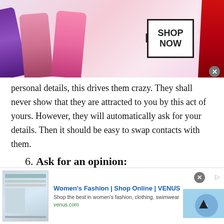[Figure (photo): MAC Cosmetics advertisement banner showing colorful lipsticks on the left, MAC logo in center, and a SHOP NOW button box on the right with a red lipstick on the far right. Close X button in bottom right corner.]
personal details, this drives them crazy. They shall never show that they are attracted to you by this act of yours. However, they will automatically ask for your details. Then it should be easy to swap contacts with them.
6. Ask for an opinion:
If you are going to make a big decision in your life, then you most probably consult with your friends or members. However, if you wish to have an honest
[Figure (screenshot): Women's Fashion VENUS advertisement banner showing website screenshot thumbnail, bold blue title text 'Women's Fashion | Shop Online | VENUS', description text and venus.com URL, with a blue circular arrow button on the right. Close X button and ad indicator arrow at top right.]